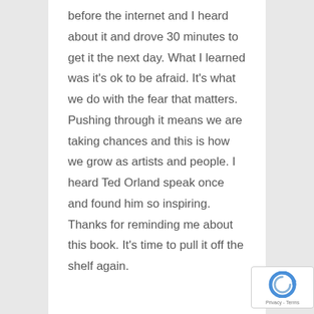before the internet and I heard about it and drove 30 minutes to get it the next day. What I learned was it's ok to be afraid. It's what we do with the fear that matters. Pushing through it means we are taking chances and this is how we grow as artists and people. I heard Ted Orland speak once and found him so inspiring. Thanks for reminding me about this book. It's time to pull it off the shelf again.
[Figure (logo): Google reCAPTCHA badge with logo and Privacy - Terms text]